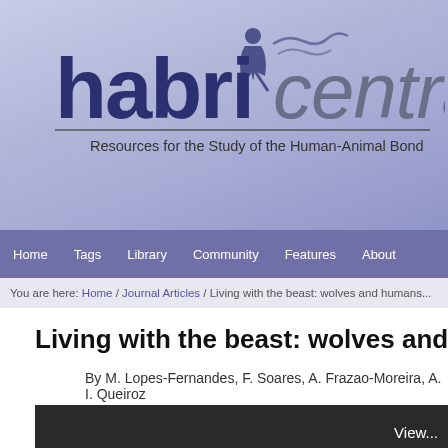[Figure (logo): HABRI Central logo with human-animal figure, text 'habri central' and subtitle 'Resources for the Study of the Human-Animal Bond']
Home  Tags  Library  Community  Features  About
You are here: Home / Journal Articles / Living with the beast: wolves and humans thr...
Living with the beast: wolves and humans thro...
By M. Lopes-Fernandes, F. Soares, A. Frazao-Moreira, A. I. Queiroz
View...
Licensed under
0 review(s) (Review this)
0 users